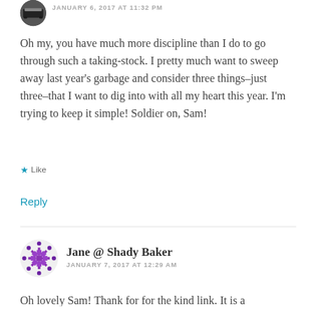[Figure (photo): Partially visible circular avatar photo of a user at the top of the page, showing a car/vehicle image]
JANUARY 6, 2017 AT 11:32 PM
Oh my, you have much more discipline than I do to go through such a taking-stock. I pretty much want to sweep away last year’s garbage and consider three things–just three–that I want to dig into with all my heart this year. I’m trying to keep it simple! Soldier on, Sam!
Like
Reply
[Figure (illustration): Circular avatar with a purple geometric/snowflake pattern for user Jane @ Shady Baker]
Jane @ Shady Baker
JANUARY 7, 2017 AT 12:29 AM
Oh lovely Sam! Thank for for the kind link. It is a